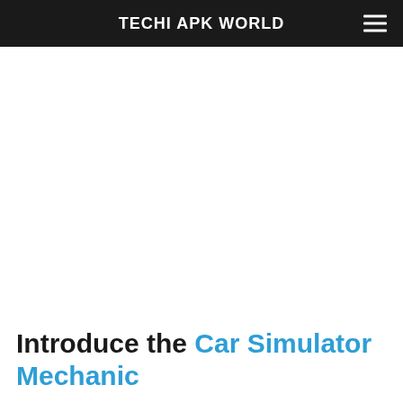TECHI APK WORLD
Introduce the Car Simulator Mechanic